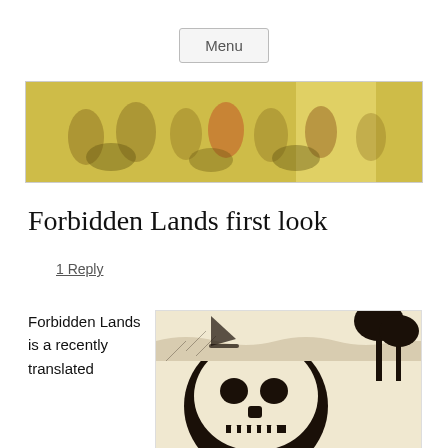Menu
[Figure (illustration): Wide horizontal banner image showing a medieval-style fresco or mural with multiple human figures on horseback and standing, with golden/yellow background tones.]
Forbidden Lands first look
1 Reply
Forbidden Lands is a recently translated
[Figure (illustration): Black and white high-contrast illustration showing a large skull in the foreground with a tropical/jungle landscape scene behind it including water, palm trees, and buildings in an ink art style.]